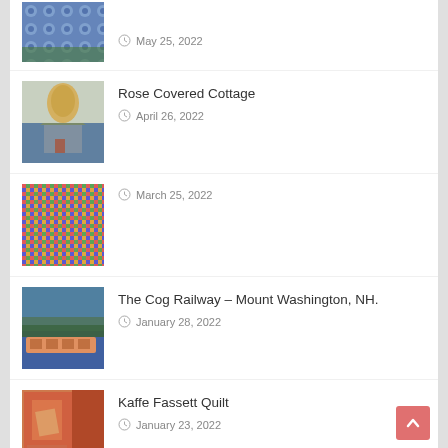[Figure (photo): Quilt hanging outdoors with blue and green circle pattern]
May 25, 2022
[Figure (photo): Quilted cottage/house artwork with tree]
Rose Covered Cottage
April 26, 2022
[Figure (photo): Colorful patchwork quilt with small squares]
March 25, 2022
[Figure (photo): Quilt depicting Cog Railway at Mount Washington NH]
The Cog Railway – Mount Washington, NH.
January 28, 2022
[Figure (photo): Kaffe Fassett style colorful orange quilt]
Kaffe Fassett Quilt
January 23, 2022